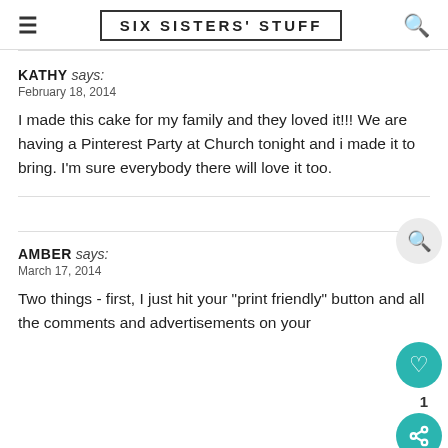SIX SISTERS' STUFF
KATHY says:
February 18, 2014

I made this cake for my family and they loved it!!! We are having a Pinterest Party at Church tonight and i made it to bring. I'm sure everybody there will love it too.
AMBER says:
March 17, 2014

Two things - first, I just hit your "print friendly" button and all the comments and advertisements on your